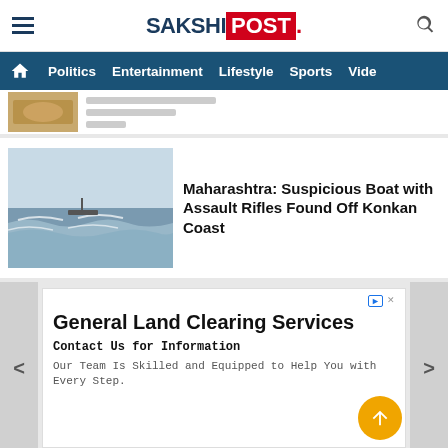SAKSHI POST
Politics  Entertainment  Lifestyle  Sports  Vide
[Figure (photo): Partially visible article thumbnail showing food item]
[Figure (photo): Ocean/sea waves with boats near Konkan coast]
Maharashtra: Suspicious Boat with Assault Rifles Found Off Konkan Coast
General Land Clearing Services
Contact Us for Information
Our Team Is Skilled and Equipped to Help You with Every Step.
BitLife - Life Simulator
Install!